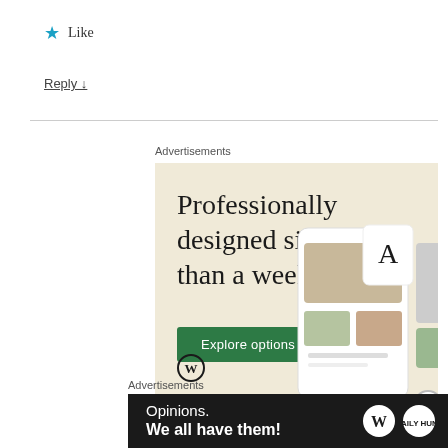★ Like
Reply ↓
Advertisements
[Figure (illustration): WordPress.com advertisement showing 'Professionally designed sites in less than a week' with an Explore options button and phone mockup images on a cream/beige background]
Advertisements
[Figure (illustration): Dark banner advertisement: 'Opinions. We all have them!' with WordPress and another logo]